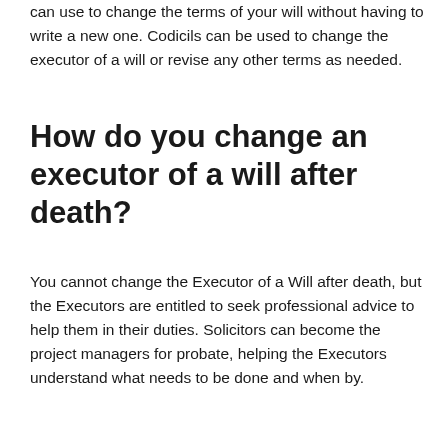can use to change the terms of your will without having to write a new one. Codicils can be used to change the executor of a will or revise any other terms as needed.
How do you change an executor of a will after death?
You cannot change the Executor of a Will after death, but the Executors are entitled to seek professional advice to help them in their duties. Solicitors can become the project managers for probate, helping the Executors understand what needs to be done and when by.